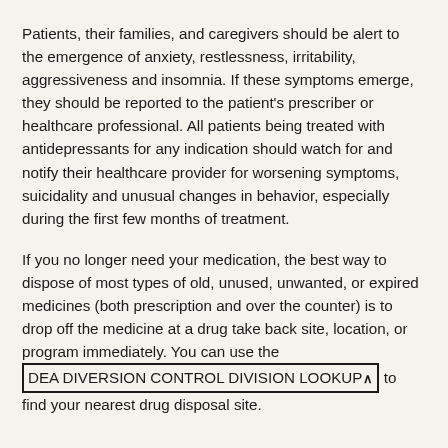Patients, their families, and caregivers should be alert to the emergence of anxiety, restlessness, irritability, aggressiveness and insomnia. If these symptoms emerge, they should be reported to the patient's prescriber or healthcare professional. All patients being treated with antidepressants for any indication should watch for and notify their healthcare provider for worsening symptoms, suicidality and unusual changes in behavior, especially during the first few months of treatment.
If you no longer need your medication, the best way to dispose of most types of old, unused, unwanted, or expired medicines (both prescription and over the counter) is to drop off the medicine at a drug take back site, location, or program immediately. You can use the DEA DIVERSION CONTROL DIVISION LOOKUP to find your nearest drug disposal site.